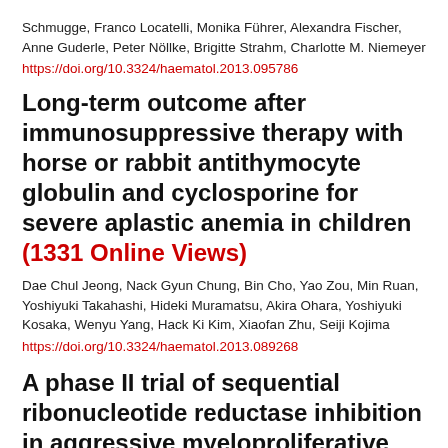Schmugge, Franco Locatelli, Monika Führer, Alexandra Fischer, Anne Guderle, Peter Nöllke, Brigitte Strahm, Charlotte M. Niemeyer
https://doi.org/10.3324/haematol.2013.095786
Long-term outcome after immunosuppressive therapy with horse or rabbit antithymocyte globulin and cyclosporine for severe aplastic anemia in children (1331 Online Views)
Dae Chul Jeong, Nack Gyun Chung, Bin Cho, Yao Zou, Min Ruan, Yoshiyuki Takahashi, Hideki Muramatsu, Akira Ohara, Yoshiyuki Kosaka, Wenyu Yang, Hack Ki Kim, Xiaofan Zhu, Seiji Kojima
https://doi.org/10.3324/haematol.2013.089268
A phase II trial of sequential ribonucleotide reductase inhibition in aggressive myeloproliferative neoplasms (300 Online Views)